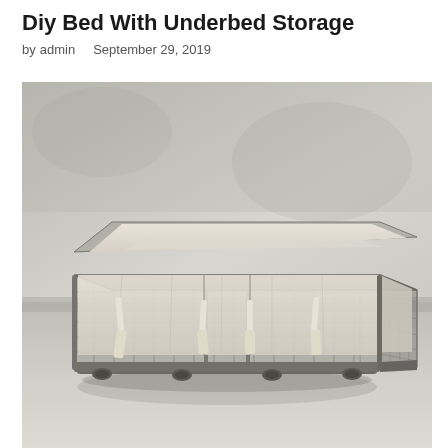Diy Bed With Underbed Storage
by admin   September 29, 2019
[Figure (photo): A rectangular wire mesh underbed storage basket with a cream/linen fabric liner and ribbon ties, sitting on small caster wheels on a light grey surface against a light grey wall.]